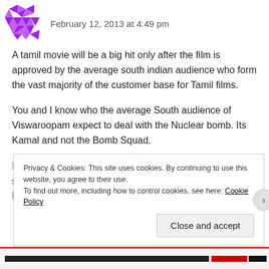[Figure (illustration): Purple geometric/diamond-pattern avatar icon]
February 12, 2013 at 4:49 pm
A tamil movie will be a big hit only after the film is approved by the average south indian audience who form the vast majority of the customer base for Tamil films.
You and I know who the average South audience of Viswaroopam expect to deal with the Nuclear bomb. Its Kamal and not the Bomb Squad.
I have watched Viswaroopm 3 times already now. Some section of the audience are still clueless where in the Film, Kamal's
Privacy & Cookies: This site uses cookies. By continuing to use this website, you agree to their use.
To find out more, including how to control cookies, see here: Cookie Policy
Close and accept